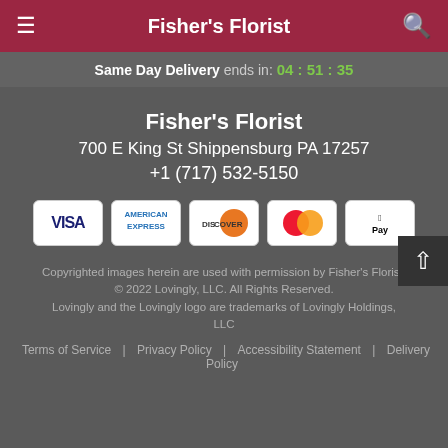Fisher's Florist
Same Day Delivery ends in: 04 : 51 : 35
Fisher's Florist
700 E King St Shippensburg PA 17257
+1 (717) 532-5150
[Figure (other): Payment method icons: Visa, American Express, Discover, Mastercard, Apple Pay]
Copyrighted images herein are used with permission by Fisher's Florist.
© 2022 Lovingly, LLC. All Rights Reserved.
Lovingly and the Lovingly logo are trademarks of Lovingly Holdings, LLC
Terms of Service | Privacy Policy | Accessibility Statement | Delivery Policy